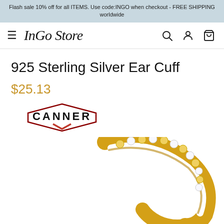Flash sale 10% off for all ITEMS. Use code:INGO when checkout - FREE SHIPPING worldwide
[Figure (logo): InGo Store navigation bar with hamburger menu, InGo Store logo in italic serif, search icon, account icon, and cart icon]
925 Sterling Silver Ear Cuff
$25.13
[Figure (logo): CANNER brand logo with hexagon outline shape in dark red/maroon and black text]
[Figure (photo): Close-up photo of a gold 925 sterling silver ear cuff with yellow and white cubic zirconia stones set in a row]